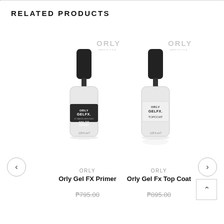RELATED PRODUCTS
[Figure (photo): Product photo of Orly Gel FX Nail Tip Primer bottle with ORLY logo watermark]
ORLY
Orly Gel FX Primer
₱795.00
[Figure (photo): Product photo of Orly Gel FX Topcoat bottle with ORLY logo watermark]
ORLY
Orly Gel Fx Top Coat
₱895.00